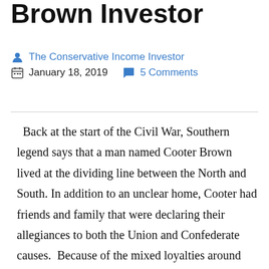Brown Investor
The Conservative Income Investor
January 18, 2019   5 Comments
Back at the start of the Civil War, Southern legend says that a man named Cooter Brown lived at the dividing line between the North and South. In addition to an unclear home, Cooter had friends and family that were declaring their allegiances to both the Union and Confederate causes.  Because of the mixed loyalties around him, Cooter was unsure whether to side with the Yankees or Southerners. As the war started, Cooter devised a shifty plan to remain in a state of permanent intoxication—he drank himself into alcoholic oblivion every night so that he would be useless to either the Union or Confederate causes. Throughout the war efforts, Cooter's